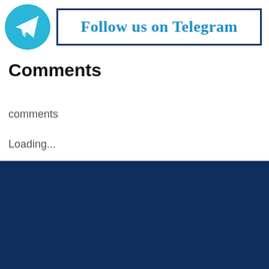[Figure (logo): Telegram circular logo with paper plane icon in teal/cyan color, followed by a bordered box with the text 'Follow us on Telegram' in bold teal serif font]
Comments
comments
Loading...
[Figure (other): Dark navy blue footer section]